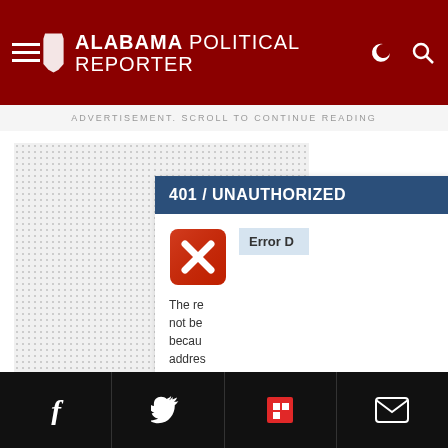ALABAMA POLITICAL REPORTER
ADVERTISEMENT. SCROLL TO CONTINUE READING
[Figure (screenshot): 401 / UNAUTHORIZED error dialog with red X icon and partial error message text: 'The re... not be... becau... addres... (3.83.... been b...']
Social share buttons: Facebook, Twitter, Flipboard, Email